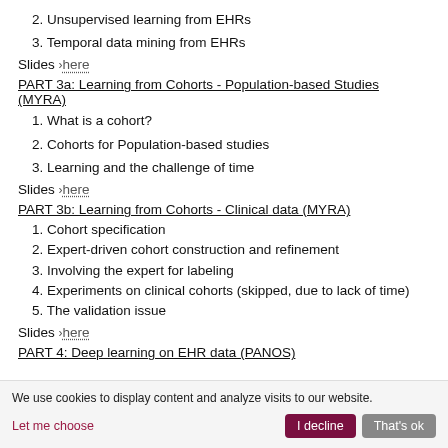2. Unsupervised learning from EHRs
3. Temporal data mining from EHRs
Slides ›here
PART 3a: Learning from Cohorts - Population-based Studies (MYRA)
1. What is a cohort?
2. Cohorts for Population-based studies
3. Learning and the challenge of time
Slides ›here
PART 3b: Learning from Cohorts - Clinical data (MYRA)
1. Cohort specification
2. Expert-driven cohort construction and refinement
3. Involving the expert for labeling
4. Experiments on clinical cohorts (skipped, due to lack of time)
5. The validation issue
Slides ›here
PART 4: Deep learning on EHR data (PANOS)
We use cookies to display content and analyze visits to our website.
Let me choose
I decline
That's ok